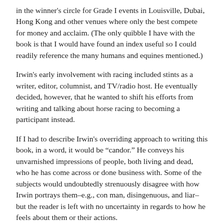in the winner's circle for Grade I events in Louisville, Dubai, Hong Kong and other venues where only the best compete for money and acclaim.  (The only quibble I have with the book is that I would have found an index useful so I could readily reference the many humans and equines mentioned.)
Irwin's early involvement with racing included stints as a writer, editor, columnist, and TV/radio host.  He eventually decided, however, that he wanted to shift his efforts from writing and talking about horse racing to becoming a participant instead.
If I had to describe Irwin's overriding approach to writing this book, in a word, it would be “candor.”  He conveys his unvarnished impressions of people, both living and dead, who he has come across or done business with.   Some of the subjects would undoubtedly strenuously disagree with how Irwin portrays them–e.g., con man, disingenuous, and liar–but the reader is left with no uncertainty in regards to how he feels about them or their actions.
While Irwin’s forthrightness has sometimes not been well received, he views his blunt talk as a personal code of conduct.  To illustrate, he